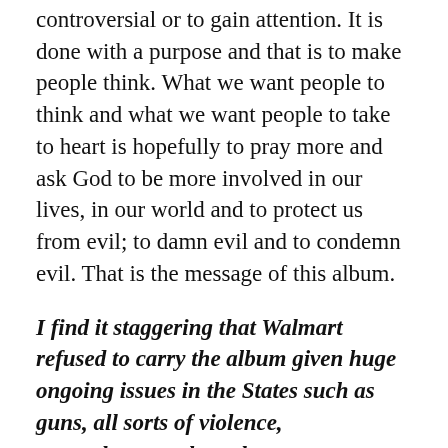controversial or to gain attention. It is done with a purpose and that is to make people think. What we want people to think and what we want people to take to heart is hopefully to pray more and ask God to be more involved in our lives, in our world and to protect us from evil; to damn evil and to condemn evil. That is the message of this album.
I find it staggering that Walmart refused to carry the album given huge ongoing issues in the States such as guns, all sorts of violence, unemployment, homelessness, you name it and yet people get upset about a title. It is just absurd.
It is absurd especially when it is explained to